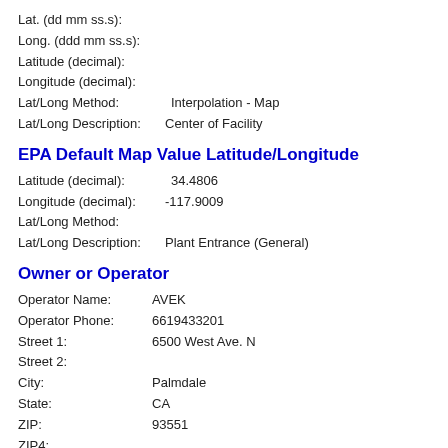Lat. (dd mm ss.s):
Long. (ddd mm ss.s):
Latitude (decimal):
Longitude (decimal):
Lat/Long Method:      Interpolation - Map
Lat/Long Description: Center of Facility
EPA Default Map Value Latitude/Longitude
Latitude (decimal):    34.4806
Longitude (decimal):  -117.9009
Lat/Long Method:
Lat/Long Description: Plant Entrance (General)
Owner or Operator
Operator Name:  AVEK
Operator Phone: 6619433201
Street 1:           6500 West Ave. N
Street 2:
City:                  Palmdale
State:                CA
ZIP:                   93551
ZIP4:
Foreign State:
Foreign ZIP: